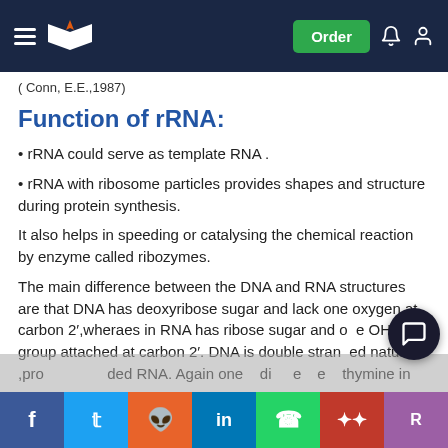Order
( Conn, E.E.,1987)
Function of rRNA:
• rRNA could serve as template RNA .
• rRNA with ribosome particles provides shapes and structure during protein synthesis.
It also helps in speeding or catalysing the chemical reaction by enzyme called ribozymes.
The main difference between the DNA and RNA structures are that DNA has deoxyribose sugar and lack one oxygen at carbon 2',wheraes in RNA has ribose sugar and one OH group attached at carbon 2'. DNA is double stranded nature ,pro... ...ded RNA. Again one ...di... ...e ...thymine in